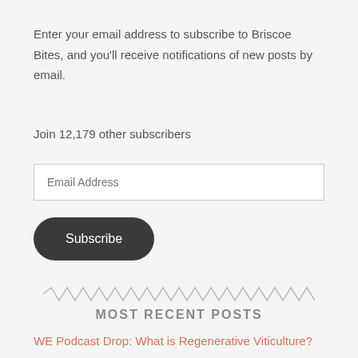Enter your email address to subscribe to Briscoe Bites, and you'll receive notifications of new posts by email.
Join 12,179 other subscribers
Email Address
Subscribe
MOST RECENT POSTS
WE Podcast Drop: What is Regenerative Viticulture?